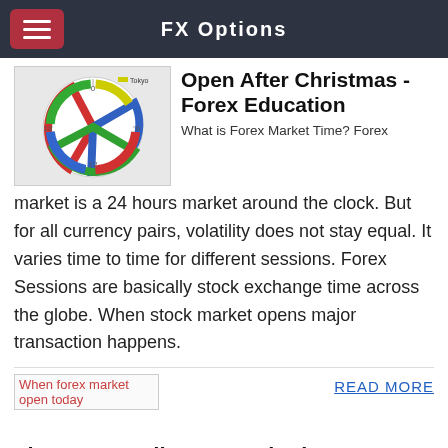FX Options
[Figure (other): Forex market hours clock/radar diagram showing trading sessions in different colors (red, blue, green, yellow) around a circular clock face with hour markers]
Open After Christmas - Forex Education
What is Forex Market Time? Forex market is a 24 hours market around the clock. But for all currency pairs, volatility does not stay equal. It varies time to time for different sessions. Forex Sessions are basically stock exchange time across the globe. When stock market opens major transaction happens.
[Figure (other): When forex market open today - image link placeholder]
READ MORE
The Best Trading Hours in the Forex Market
GMT and EST hours for trading Forex. Forex market welcomes traders 24 hours a day. Forex market opens on Sunday 5 pm EST (10:00 pm GMT), closes on Friday 5 pm EST (10:00 pm GMT). Trading sessions according to GMT (Greenwich Mean Time):